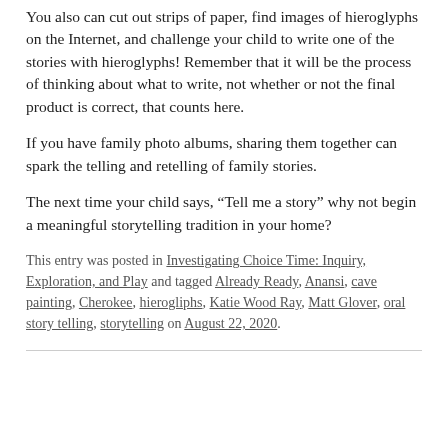You also can cut out strips of paper, find images of hieroglyphs on the Internet, and challenge your child to write one of the stories with hieroglyphs! Remember that it will be the process of thinking about what to write, not whether or not the final product is correct, that counts here.
If you have family photo albums, sharing them together can spark the telling and retelling of family stories.
The next time your child says, “Tell me a story” why not begin a meaningful storytelling tradition in your home?
This entry was posted in Investigating Choice Time: Inquiry, Exploration, and Play and tagged Already Ready, Anansi, cave painting, Cherokee, hierogliphs, Katie Wood Ray, Matt Glover, oral story telling, storytelling on August 22, 2020.